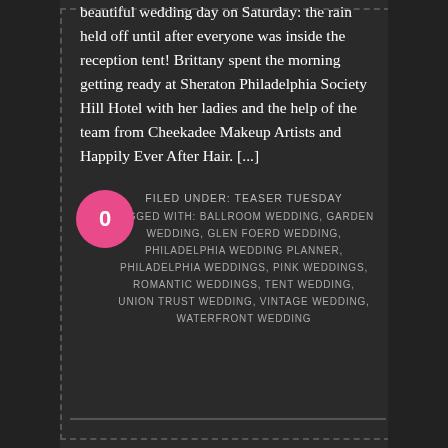beautiful wedding day on Saturday: the rain held off until after everyone was inside the reception tent! Brittany spent the morning getting ready at Sheraton Philadelphia Society Hill Hotel with her ladies and the help of the team from Cheekadee Makeup Artists and Happily Ever After Hair. [...]
0 FILED UNDER: TEASER TUESDAY TAGGED WITH: BALLROOM WEDDING, GARDEN WEDDING, GLEN FOERD WEDDING, PHILADELPHIA WEDDING PLANNER, PHILADELPHIA WEDDINGS, PINK WEDDINGS, ROMANTIC WEDDINGS, TENT WEDDING, UNION TRUST WEDDING, VINTAGE WEDDING, WATERFRONT WEDDING